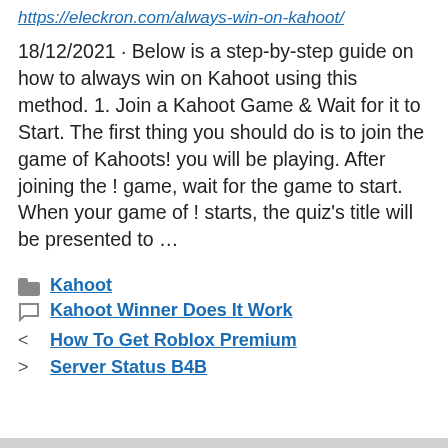https://eleckron.com/always-win-on-kahoot/
18/12/2021 · Below is a step-by-step guide on how to always win on Kahoot using this method. 1. Join a Kahoot Game & Wait for it to Start. The first thing you should do is to join the game of Kahoots! you will be playing. After joining the ! game, wait for the game to start. When your game of ! starts, the quiz's title will be presented to …
Kahoot
Kahoot Winner Does It Work
How To Get Roblox Premium
Server Status B4B